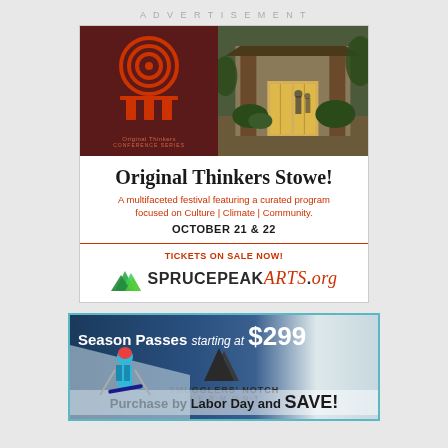ADVERTISEMENT
[Figure (illustration): Original Thinkers Stowe festival advertisement. Left half: dark maroon background with circular target/column logo and 'Original Thinkers' text. Right half: photo of lodge entrance with warm lighting. Below: white background with title 'Original Thinkers Stowe!', red subtitle about multifaceted festival focused on Culture, Climate, Community, date OCTOBER 21 & 22, and Spruce Peak Arts website.]
[Figure (illustration): Smuggler's Notch Vermont advertisement. Dark blue background with skier image on left, mountain logo in center, text: Season Passes starting at $299, Purchase by Labor Day and SAVE!]